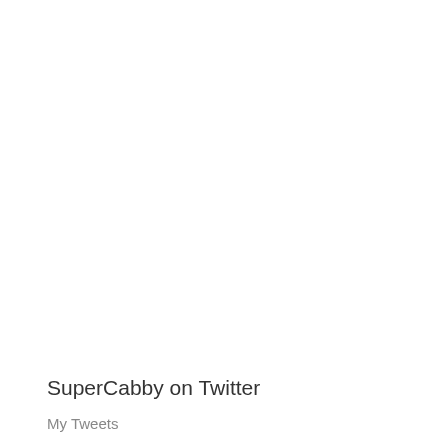SuperCabby on Twitter
My Tweets